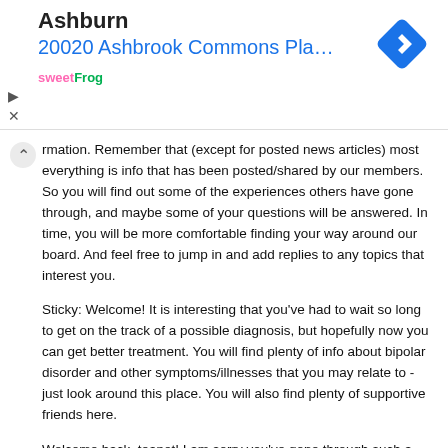[Figure (screenshot): Ad banner showing sweetFrog logo, 'Ashburn' city name, '20020 Ashbrook Commons Pla...' address in blue, and a blue diamond navigation icon on the right. Play and close controls on the left side.]
rmation. Remember that (except for posted news articles) most everything is info that has been posted/shared by our members. So you will find out some of the experiences others have gone through, and maybe some of your questions will be answered. In time, you will be more comfortable finding your way around our board. And feel free to jump in and add replies to any topics that interest you.
Sticky: Welcome! It is interesting that you’ve had to wait so long to get on the track of a possible diagnosis, but hopefully now you can get better treatment. You will find plenty of info about bipolar disorder and other symptoms/illnesses that you may relate to - just look around this place. You will also find plenty of supportive friends here.
Welcome back, teapot! I am sorry you’ve gone through such a rough time. I hope that you are getting some counseling and medical care for your depression. And as you know, you will get great support here at DF.